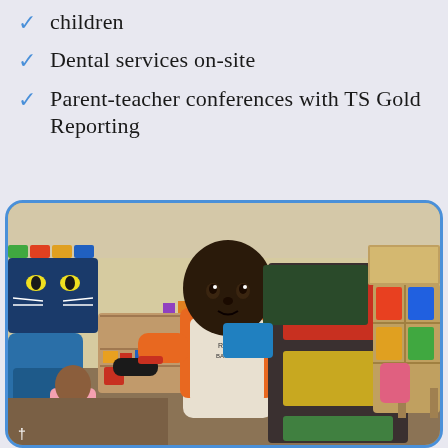children
Dental services on-site
Parent-teacher conferences with TS Gold Reporting
[Figure (photo): A young child in a classroom holding up a dark cardboard craft project with red and yellow/gold colored paper rectangles glued on it. The child is wearing an orange vest. A classroom environment is visible in the background with colorful cubbies, bookshelves, educational decorations, and another child sitting on the floor. A footnote marker '†' appears at the bottom left.]